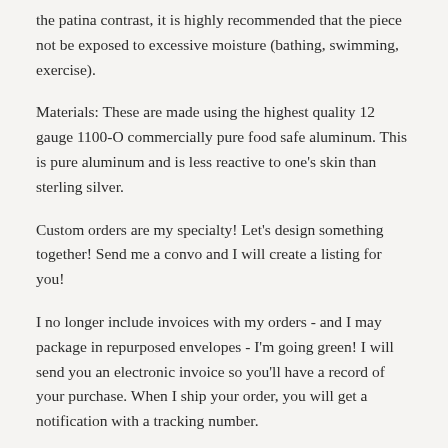the patina contrast, it is highly recommended that the piece not be exposed to excessive moisture (bathing, swimming, exercise).
Materials: These are made using the highest quality 12 gauge 1100-O commercially pure food safe aluminum. This is pure aluminum and is less reactive to one's skin than sterling silver.
Custom orders are my specialty! Let's design something together! Send me a convo and I will create a listing for you!
I no longer include invoices with my orders - and I may package in repurposed envelopes - I'm going green! I will send you an electronic invoice so you'll have a record of your purchase. When I ship your order, you will get a notification with a tracking number.